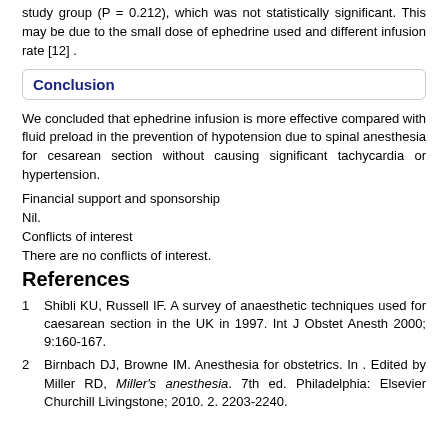study group (P = 0.212), which was not statistically significant. This may be due to the small dose of ephedrine used and different infusion rate [12] .
Conclusion
We concluded that ephedrine infusion is more effective compared with fluid preload in the prevention of hypotension due to spinal anesthesia for cesarean section without causing significant tachycardia or hypertension.
Financial support and sponsorship
Nil.
Conflicts of interest
There are no conflicts of interest.
References
1  Shibli KU, Russell IF. A survey of anaesthetic techniques used for caesarean section in the UK in 1997. Int J Obstet Anesth 2000; 9:160-167.
2  Birnbach DJ, Browne IM. Anesthesia for obstetrics. In . Edited by Miller RD, Miller's anesthesia. 7th ed. Philadelphia: Elsevier Churchill Livingstone; 2010. 2. 2203-2240.